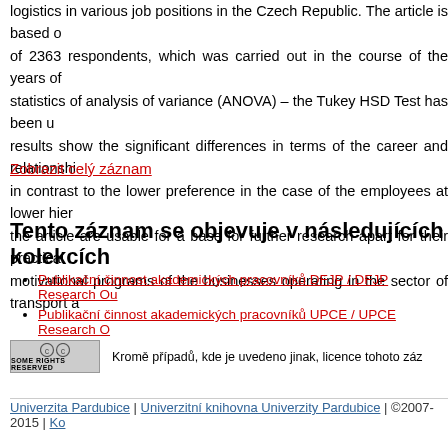logistics in various job positions in the Czech Republic. The article is based on a survey of 2363 respondents, which was carried out in the course of the years of statistics of analysis of variance (ANOVA) – the Tukey HSD Test has been used. The results show the significant differences in terms of the career and relationship motivators in contrast to the lower preference in the case of the employees at lower hierarchical levels. the article are usable for a base for further research apart for their practical motivational programs of the businesses operating in the sector of transport a
Zobrazit celý záznam
Tento záznam se objevuje v následujících kolekcích
Publikační činnost akademických pracovníků DFJP / DFJP Research Ou
Publikační činnost akademických pracovníků UPCE / UPCE Research O
Kromě případů, kde je uvedeno jinak, licence tohoto záz
Univerzita Pardubice | Univerzitní knihovna Univerzity Pardubice | ©2007-2015 | Ko